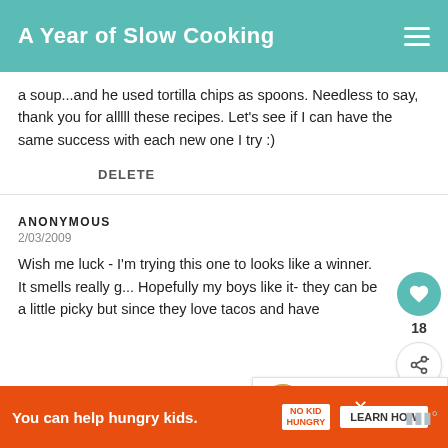A Year of Slow Cooking
a soup...and he used tortilla chips as spoons. Needless to say, thank you for alllll these recipes. Let's see if I can have the same success with each new one I try :)
DELETE
ANONYMOUS
2/03/2009
Wish me luck - I'm trying this one to looks like a winner. It smells really g... Hopefully my boys like it- they can be a little picky but since they love tacos and have
WHAT'S NEXT → Salsa Chicken and Black...
You can help hungry kids. NO KID HUNGRY LEARN HOW